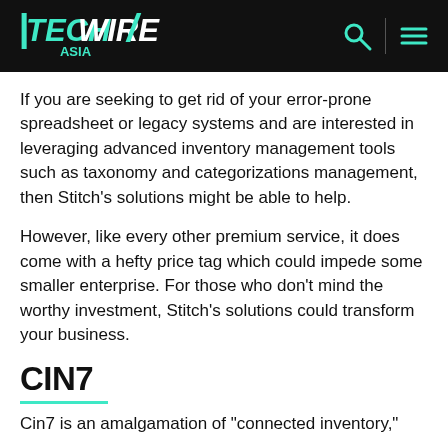TECHWIRE ASIA
If you are seeking to get rid of your error-prone spreadsheet or legacy systems and are interested in leveraging advanced inventory management tools such as taxonomy and categorizations management, then Stitch’s solutions might be able to help.
However, like every other premium service, it does come with a hefty price tag which could impede some smaller enterprise. For those who don’t mind the worthy investment, Stitch’s solutions could transform your business.
CIN7
Cin7 is an amalgamation of “connected inventory,”